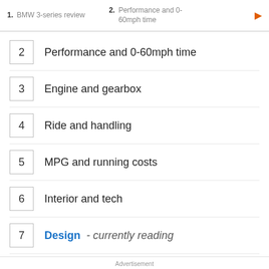1. BMW 3-series review   2. Performance and 0-60mph time
2  Performance and 0-60mph time
3  Engine and gearbox
4  Ride and handling
5  MPG and running costs
6  Interior and tech
7  Design - currently reading
Advertisement
[Figure (photo): Advertisement banner showing 'Download Helbiz and ride' with a photo of a scooter handlebar]